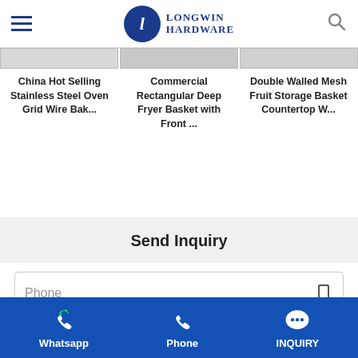Longwin Hardware
China Hot Selling Stainless Steel Oven Grid Wire Bak...
Commercial Rectangular Deep Fryer Basket with Front ...
Double Walled Mesh Fruit Storage Basket Countertop W...
Send Inquiry
Phone
Whatsapp   Phone   INQUIRY